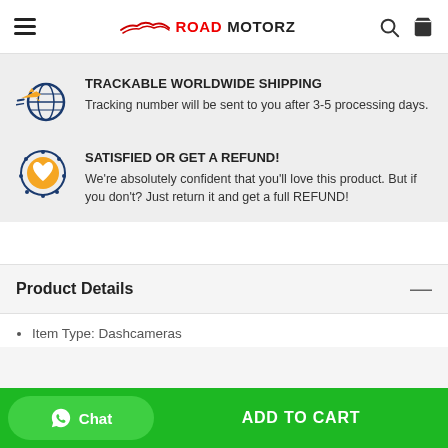ROAD MOTORZ
TRACKABLE WORLDWIDE SHIPPING
Tracking number will be sent to you after 3-5 processing days.
SATISFIED OR GET A REFUND!
We're absolutely confident that you'll love this product. But if you don't? Just return it and get a full REFUND!
Product Details
Item Type: Dashcameras
Chat
ADD TO CART